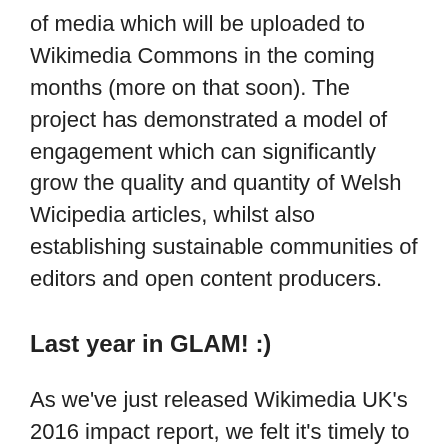of media which will be uploaded to Wikimedia Commons in the coming months (more on that soon). The project has demonstrated a model of engagement which can significantly grow the quality and quantity of Welsh Wicipedia articles, whilst also establishing sustainable communities of editors and open content producers.
Last year in GLAM! :)
As we've just released Wikimedia UK's 2016 impact report, we felt it's timely to share it here with you.
Have a look at the highlights we reached below, and for the pleasure of the whole